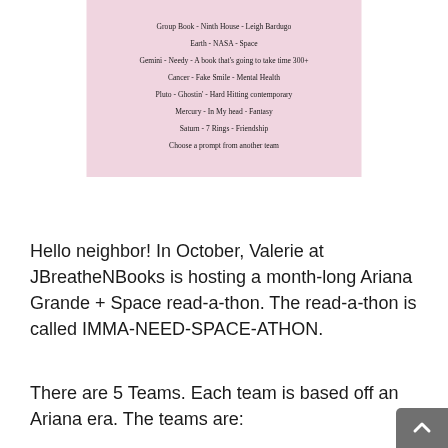[Figure (infographic): Pink box containing a list of reading prompts: Group Book - Ninth House - Leigh Bardugo; Earth - NASA - Space; Gemini - Needy - A book that's going to take time 500+; Cancer - Fake Smile - Mental Health; Pluto - Ghostin' - Hard Hitting contemporary; Mercury - In My head - Fantasy; Saturn - 7 Rings - Friendship; Choose a prompt from another team]
Hello neighbor! In October, Valerie at JBreatheNBooks is hosting a month-long Ariana Grande + Space read-a-thon. The read-a-thon is called IMMA-NEED-SPACE-ATHON.
There are 5 Teams. Each team is based off an Ariana era. The teams are: